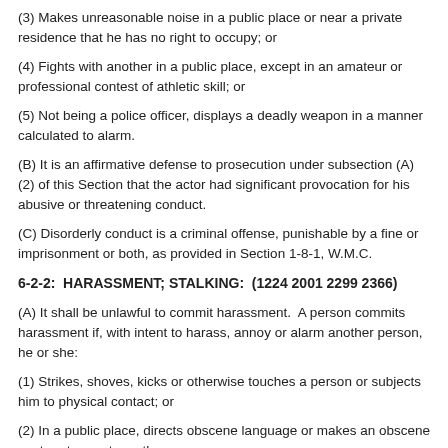(3) Makes unreasonable noise in a public place or near a private residence that he has no right to occupy; or
(4) Fights with another in a public place, except in an amateur or professional contest of athletic skill; or
(5) Not being a police officer, displays a deadly weapon in a manner calculated to alarm.
(B) It is an affirmative defense to prosecution under subsection (A)(2) of this Section that the actor had significant provocation for his abusive or threatening conduct.
(C) Disorderly conduct is a criminal offense, punishable by a fine or imprisonment or both, as provided in Section 1-8-1, W.M.C.
6-2-2:  HARASSMENT; STALKING:  (1224 2001 2299 2366)
(A) It shall be unlawful to commit harassment.  A person commits harassment if, with intent to harass, annoy or alarm another person, he or she:
(1) Strikes, shoves, kicks or otherwise touches a person or subjects him to physical contact; or
(2) In a public place, directs obscene language or makes an obscene gesture to, or at, another person; or